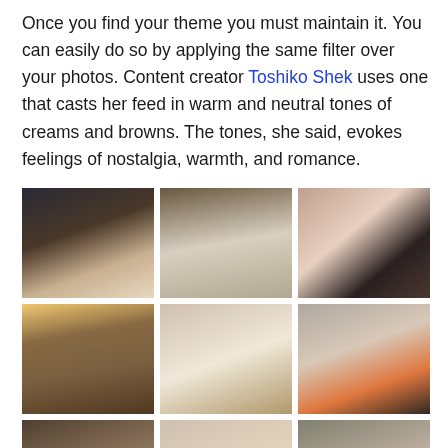Once you find your theme you must maintain it. You can easily do so by applying the same filter over your photos. Content creator Toshiko Shek uses one that casts her feed in warm and neutral tones of creams and browns. The tones, she said, evokes feelings of nostalgia, warmth, and romance.
[Figure (photo): A 3x3 grid of Instagram-style photos by content creator Toshiko Shek, showing warm and neutral tones: a woman reading, a woman sitting on a bed, close-up of boots, a woman on a road, a white hat on a bag, a woman in orange, and three more partially visible images at the bottom.]